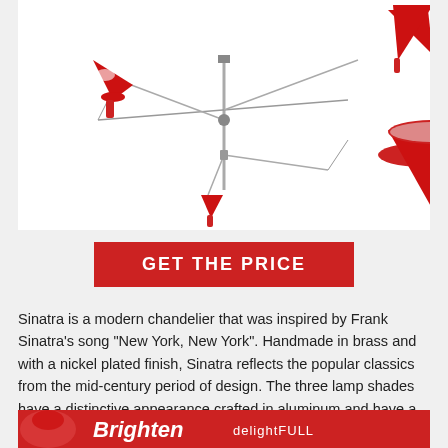[Figure (photo): A modern chandelier named Sinatra with three red conical lamp shades on brass arms with nickel plated finish, mid-century style, white background.]
GET THE PRICE
Sinatra is a modern chandelier that was inspired by Frank Sinatra's song “New York, New York”. Handmade in brass and with a nickel plated finish, Sinatra reflects the popular classics from the mid-century period of design. The three lamp shades have a distinctive appearance crafted in aluminum and have a glossy red finish.
[Figure (photo): Bottom banner with red background showing a partial product image on the left and text 'Brighten' and 'delightFULL' on the right.]